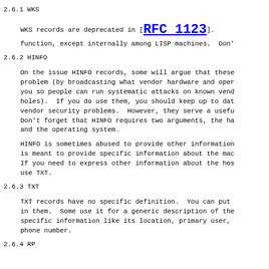2.6.1 WKS
WKS records are deprecated in [RFC 1123]. function, except internally among LISP machines.  Don'
2.6.2 HINFO
On the issue HINFO records, some will argue that these problem (by broadcasting what vendor hardware and oper you so people can run systematic attacks on known vend holes).  If you do use them, you should keep up to dat vendor security problems.  However, they serve a usefu Don't forget that HINFO requires two arguments, the ha and the operating system.
HINFO is sometimes abused to provide other information is meant to provide specific information about the mac If you need to express other information about the hos use TXT.
2.6.3 TXT
TXT records have no specific definition.  You can put in them.  Some use it for a generic description of the specific information like its location, primary user, phone number.
2.6.4 RP